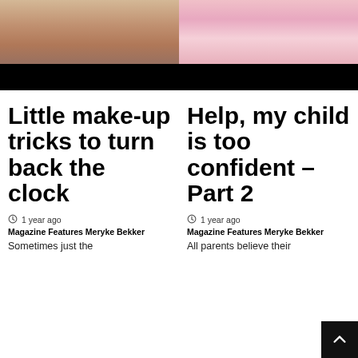[Figure (photo): Close-up photo of an older woman's face with blonde hair, smiling, with visible wrinkles]
[Figure (photo): Photo of a young child on a pink background, wearing white clothing with a red beaded necklace]
Little make-up tricks to turn back the clock
Help, my child is too confident – Part 2
1 year ago  Magazine Features  Meryke Bekker
1 year ago  Magazine Features  Meryke Bekker
Sometimes just the
All parents believe their